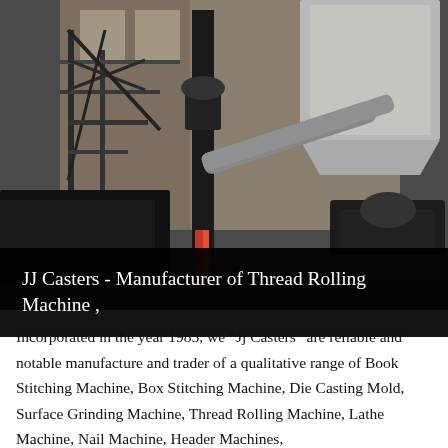[Figure (photo): Industrial photograph of a large manufacturing facility interior showing heavy machinery, metal framework structures, conveyor/pipe systems, and industrial equipment in a warehouse-like building with concrete floors and high windows.]
JJ Casters - Manufacturer of Thread Rolling Machine ,
Incorporated in the year 1985, we “Jj Casters” are reliable and notable manufacture and trader of a qualitative range of Book Stitching Machine, Box Stitching Machine, Die Casting Mold, Surface Grinding Machine, Thread Rolling Machine, Lathe Machine, Nail Machine, Header Machines,